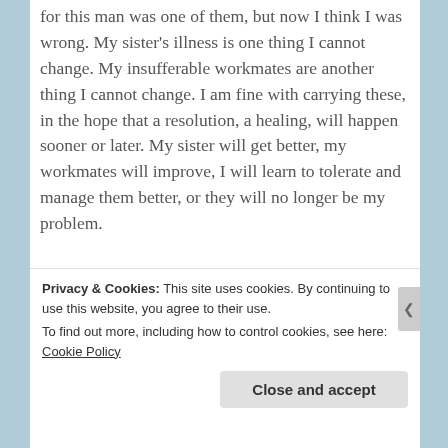for this man was one of them, but now I think I was wrong. My sister's illness is one thing I cannot change. My insufferable workmates are another thing I cannot change. I am fine with carrying these, in the hope that a resolution, a healing, will happen sooner or later. My sister will get better, my workmates will improve, I will learn to tolerate and manage them better, or they will no longer be my problem.
This grief, however, needs closure. And the way
Privacy & Cookies: This site uses cookies. By continuing to use this website, you agree to their use.
To find out more, including how to control cookies, see here: Cookie Policy
Close and accept